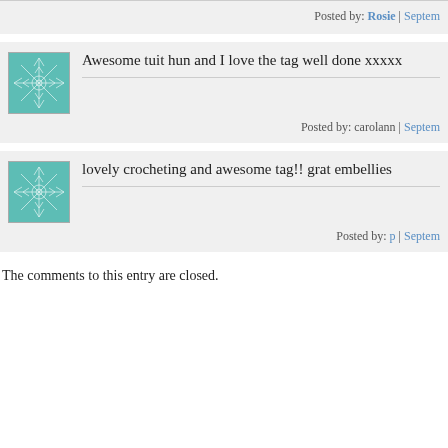Posted by: Rosie | Septem...
[Figure (illustration): Teal/mint snowflake or mandala avatar image]
Awesome tuit hun and I love the tag well done xxxxx
Posted by: carolann | Septem...
[Figure (illustration): Teal/mint snowflake or mandala avatar image]
lovely crocheting and awesome tag!! grat embellies
Posted by: p | Septem...
The comments to this entry are closed.